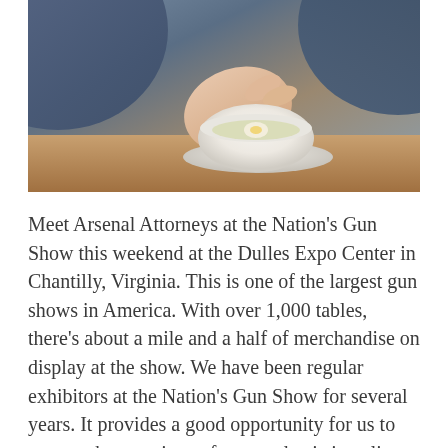[Figure (photo): A person's hands holding a white bowl on a saucer, placed on a wooden table. The person is wearing a blue-grey long sleeve top.]
Meet Arsenal Attorneys at the Nation's Gun Show this weekend at the Dulles Expo Center in Chantilly, Virginia. This is one of the largest gun shows in America. With over 1,000 tables, there's about a mile and a half of merchandise on display at the show. We have been regular exhibitors at the Nation's Gun Show for several years. It provides a good opportunity for us to answer the questions of new and existing clients. Visitors to the region can also see the nearby National Firearms Museum at NRA Headquarters in addition to the many businesses of the firearms industry in Northern Virginia.